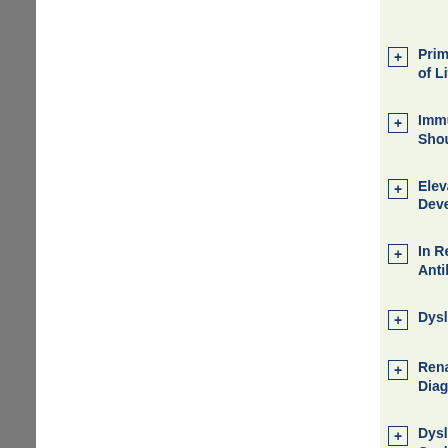Primary Localized A... of Literature
Immunosuppressio... Should Be Conside...
Elevated Serum Ga... Development of Ch...
In Reply to "The Re... Antibody Response...
Dyslipidemia in Re...
Renal Allograft Nep... Diagnosis
Dyslipidemia After ... Cyclosporine Level...